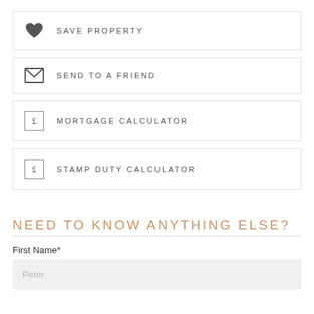SAVE PROPERTY
SEND TO A FRIEND
MORTGAGE CALCULATOR
STAMP DUTY CALCULATOR
NEED TO KNOW ANYTHING ELSE?
First Name*
Peter